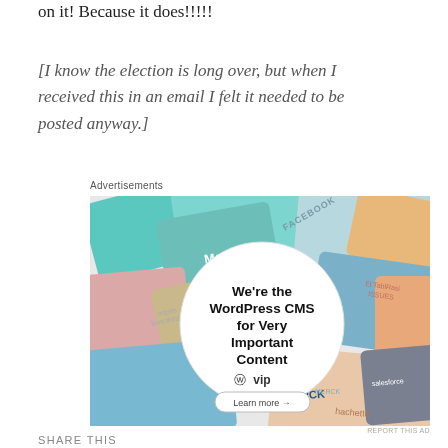on it! Because it does!!!!!
[I know the election is long over, but when I received this in an email I felt it needed to be posted anyway.]
Advertisements
[Figure (photo): WordPress VIP advertisement showing colorful overlapping company logo cards (Meta, Facebook, Capgemini, Merck, Hachette, Salesforce, others) with a central white circle reading: We're the WordPress CMS for Very Important Content, WP VIP logo, Learn more arrow button]
REPORT THIS AD
SHARE THIS